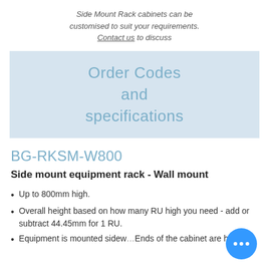Side Mount Rack cabinets can be customised to suit your requirements. Contact us to discuss
Order Codes and specifications
BG-RKSM-W800
Side mount equipment rack - Wall mount
Up to 800mm high.
Overall height based on how many RU high you need - add or subtract 44.45mm for 1 RU.
Equipment is mounted sideways. Ends of the cabinet are hinged.